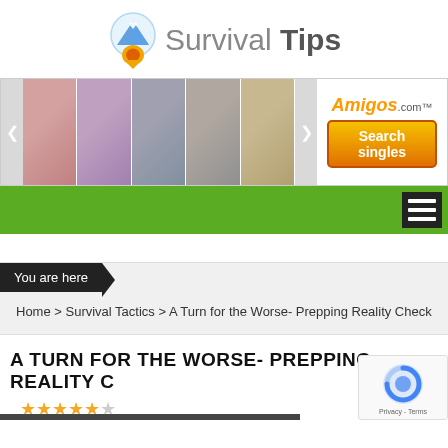[Figure (logo): Survival Tips website logo with mountain/location pin icon and text 'Survival Tips']
[Figure (other): Amigos.com advertisement banner showing photos of women with 'Search singles' button]
Navigation bar with hamburger menu icon
You are here
Home > Survival Tactics > A Turn for the Worse- Prepping Reality Check
A TURN FOR THE WORSE- PREPPING REALITY C
[Figure (other): Star rating: 4.5 out of 5 stars]